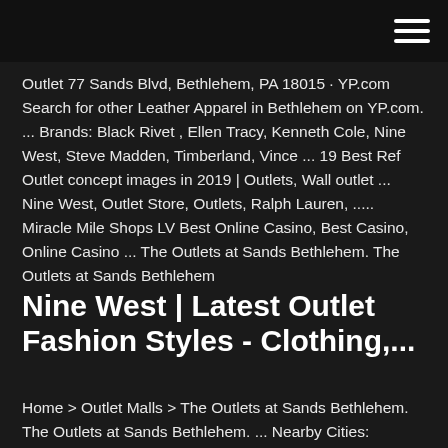[hamburger menu icon]
Outlet 77 Sands Blvd, Bethlehem, PA 18015 · YP.com Search for other Leather Apparel in Bethlehem on YP.com. ... Brands: Black Rivet , Ellen Tracy, Kenneth Cole, Nine West, Steve Madden, Timberland, Vince ... 19 Best Ref Outlet concept images in 2019 | Outlets, Wall outlet ... Nine West, Outlet Store, Outlets, Ralph Lauren, ..... Miracle Mile Shops LV Best Online Casino, Best Casino, Online Casino ... The Outlets at Sands Bethlehem. The Outlets at Sands Bethlehem
Nine West | Latest Outlet Fashion Styles - Clothing,...
Home > Outlet Malls > The Outlets at Sands Bethlehem. The Outlets at Sands Bethlehem. ... Nearby Cities: Philadelphia,